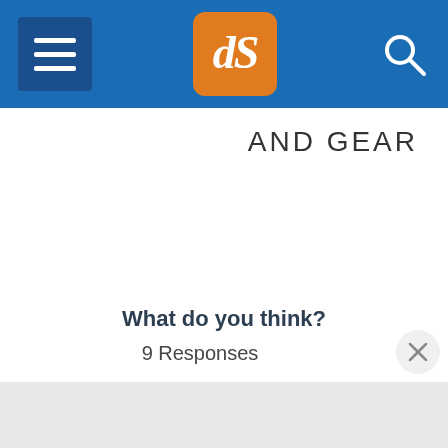dPS navigation bar with hamburger menu, logo, and search icon
AND GEAR
What do you think?
9 Responses